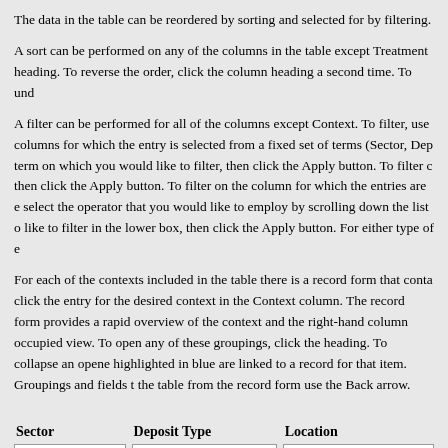The data in the table can be reordered by sorting and selected for by filtering.
A sort can be performed on any of the columns in the table except Treatment heading. To reverse the order, click the column heading a second time. To und
A filter can be performed for all of the columns except Context. To filter, use columns for which the entry is selected from a fixed set of terms (Sector, Dep term on which you would like to filter, then click the Apply button. To filter c then click the Apply button. To filter on the column for which the entries are e select the operator that you would like to employ by scrolling down the list o like to filter in the lower box, then click the Apply button. For either type of e
For each of the contexts included in the table there is a record form that conta click the entry for the desired context in the Context column. The record form provides a rapid overview of the context and the right-hand column occupied view. To open any of these groupings, click the heading. To collapse an opene highlighted in blue are linked to a record for that item. Groupings and fields t the table from the record form use the Back arrow.
| Sector | Deposit Type | Location |
| --- | --- | --- |
| Sector A | fill | Is equal to |
| Sector B | pit/trench fill |  |